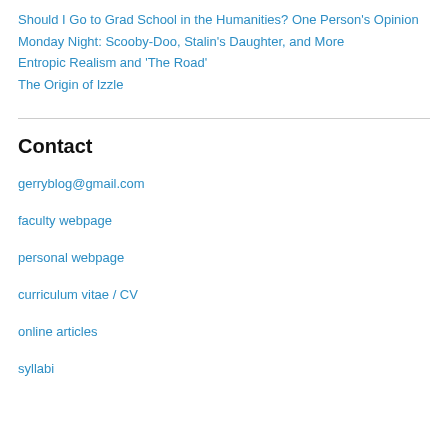Should I Go to Grad School in the Humanities? One Person's Opinion
Monday Night: Scooby-Doo, Stalin's Daughter, and More
Entropic Realism and 'The Road'
The Origin of Izzle
Contact
gerryblog@gmail.com
faculty webpage
personal webpage
curriculum vitae / CV
online articles
syllabi